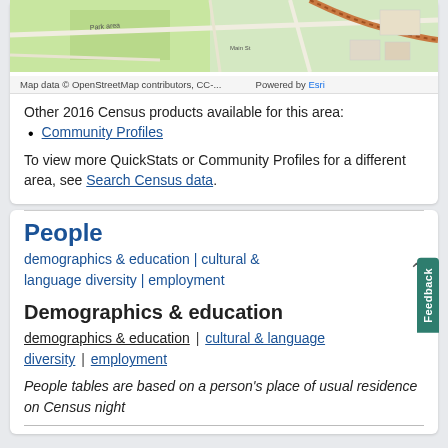[Figure (map): Street map showing an area with green parks, roads, and urban features from OpenStreetMap/Esri]
Map data © OpenStreetMap contributors, CC-... Powered by Esri
Other 2016 Census products available for this area:
Community Profiles
To view more QuickStats or Community Profiles for a different area, see Search Census data.
People
demographics & education | cultural & language diversity | employment
Demographics & education
demographics & education | cultural & language diversity | employment
People tables are based on a person's place of usual residence on Census night